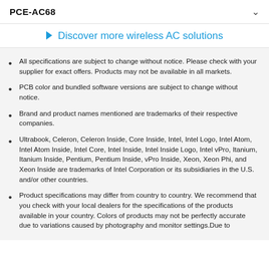PCE-AC68
Discover more wireless AC solutions
All specifications are subject to change without notice. Please check with your supplier for exact offers. Products may not be available in all markets.
PCB color and bundled software versions are subject to change without notice.
Brand and product names mentioned are trademarks of their respective companies.
Ultrabook, Celeron, Celeron Inside, Core Inside, Intel, Intel Logo, Intel Atom, Intel Atom Inside, Intel Core, Intel Inside, Intel Inside Logo, Intel vPro, Itanium, Itanium Inside, Pentium, Pentium Inside, vPro Inside, Xeon, Xeon Phi, and Xeon Inside are trademarks of Intel Corporation or its subsidiaries in the U.S. and/or other countries.
Product specifications may differ from country to country. We recommend that you check with your local dealers for the specifications of the products available in your country. Colors of products may not be perfectly accurate due to variations caused by photography and monitor settings.Due to photo and item's color difference, we cannot guarantee that the color you see on the page will match the real item you receive. Colors depicted may differ.